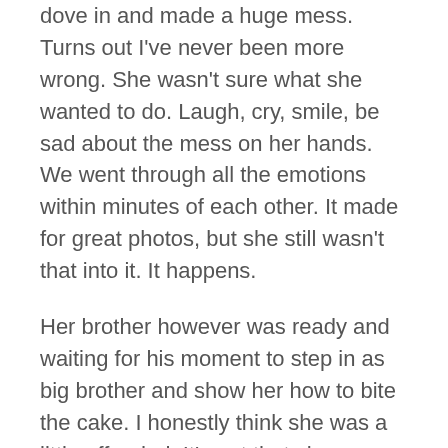dove in and made a huge mess. Turns out I've never been more wrong. She wasn't sure what she wanted to do. Laugh, cry, smile, be sad about the mess on her hands. We went through all the emotions within minutes of each other. It made for great photos, but she still wasn't that into it. It happens.
Her brother however was ready and waiting for his moment to step in as big brother and show her how to bite the cake. I honestly think she was a little offended. It's not that she wanted the cake, but she also didn't really want him to have it. The look on her face as she watched him touch her birthday cake was hilarious.
She held in there though. Despite our best efforts, and her unsure mood that day. She was patient, and kept trying to enjoy herself. In the end we got a few cute smiles, a few true to life